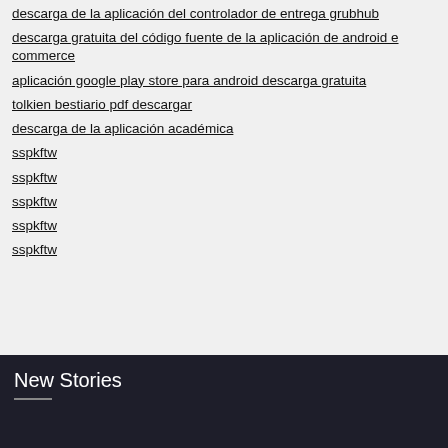descarga de la aplicación del controlador de entrega grubhub
descarga gratuita del código fuente de la aplicación de android e commerce
aplicación google play store para android descarga gratuita
tolkien bestiario pdf descargar
descarga de la aplicación académica
sspkftw
sspkftw
sspkftw
sspkftw
sspkftw
New Stories